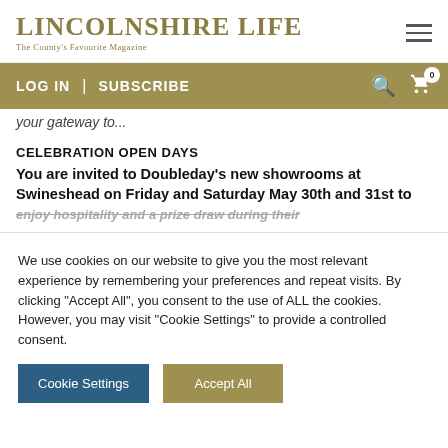LINCOLNSHIRE LIFE — The County's Favourite Magazine
LOG IN | SUBSCRIBE
CELEBRATION OPEN DAYS
You are invited to Doubleday's new showrooms at Swineshead on Friday and Saturday May 30th and 31st to enjoy hospitality and a prize draw during their
We use cookies on our website to give you the most relevant experience by remembering your preferences and repeat visits. By clicking "Accept All", you consent to the use of ALL the cookies. However, you may visit "Cookie Settings" to provide a controlled consent.